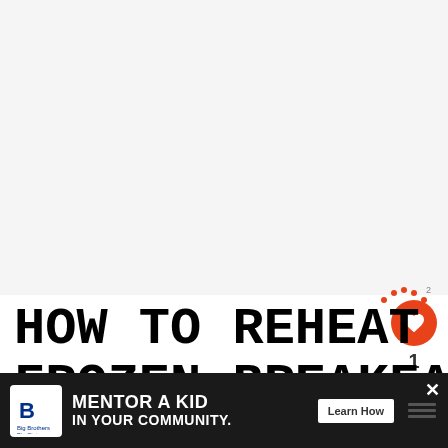[Figure (photo): Large blank/white image area at top of page, placeholder for a food photo]
HOW TO REHEAT FROZEN BREAKFAST BURRITOS:
[Figure (infographic): Social UI overlay: heart/like button with count '1' and share button on right side]
[Figure (infographic): What's Next panel: 'WHAT'S NEXT →' header in orange, thumbnail of food, text 'Easy Breakfast...']
[Figure (infographic): Ad banner: Big Brothers Big Sisters logo, 'MENTOR A KID IN YOUR COMMUNITY.' text, 'Learn How' button, close X button]